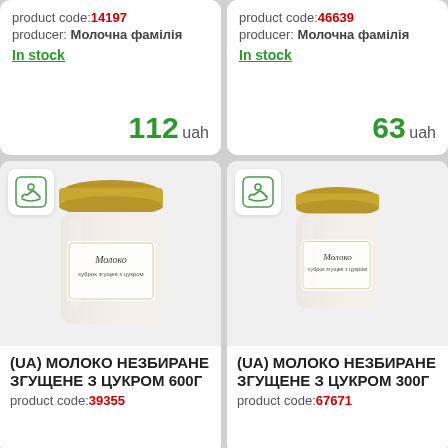product code:14197
producer: Молочна фамілія
In stock
112 uah
product code:46639
producer: Молочна фамілія
In stock
63 uah
[Figure (photo): Jar of condensed milk product - (UA) МОЛОКО НЕЗБИРАНЕ ЗГУЩЕНЕ З ЦУКРОМ 600Г]
(UA) МОЛОКО НЕЗБИРАНЕ ЗГУЩЕНЕ З ЦУКРОМ 600Г
product code:39355
[Figure (photo): Jar of condensed milk product - (UA) МОЛОКО НЕЗБИРАНЕ ЗГУЩЕНЕ З ЦУКРОМ 300Г]
(UA) МОЛОКО НЕЗБИРАНЕ ЗГУЩЕНЕ З ЦУКРОМ 300Г
product code:67671